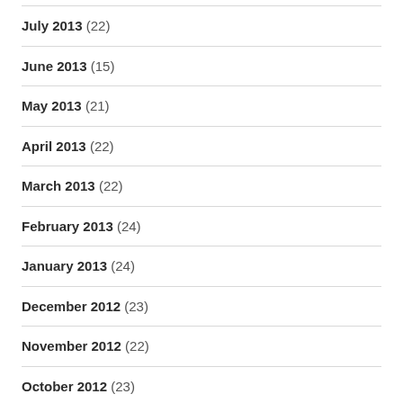July 2013 (22)
June 2013 (15)
May 2013 (21)
April 2013 (22)
March 2013 (22)
February 2013 (24)
January 2013 (24)
December 2012 (23)
November 2012 (22)
October 2012 (23)
September 2012 (20)